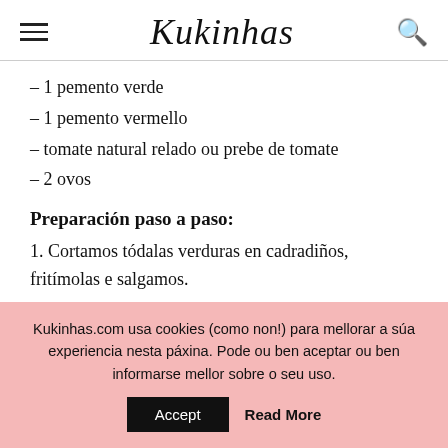Kukinhas
– 1 pemento verde
– 1 pemento vermello
– tomate natural relado ou prebe de tomate
– 2 ovos
Preparación paso a paso:
1. Cortamos tódalas verduras en cadradiños, fritímolas e salgamos.
Kukinhas.com usa cookies (como non!) para mellorar a súa experiencia nesta páxina. Pode ou ben aceptar ou ben informarse mellor sobre o seu uso.